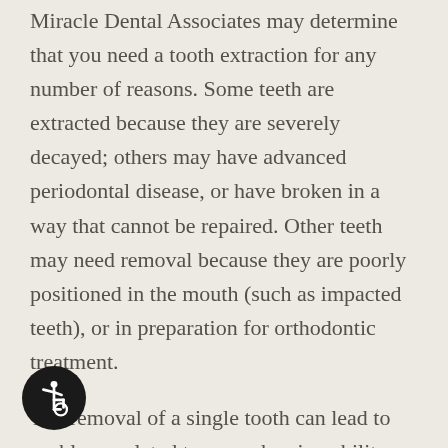Miracle Dental Associates may determine that you need a tooth extraction for any number of reasons. Some teeth are extracted because they are severely decayed; others may have advanced periodontal disease, or have broken in a way that cannot be repaired. Other teeth may need removal because they are poorly positioned in the mouth (such as impacted teeth), or in preparation for orthodontic treatment.
The removal of a single tooth can lead to problems related to your chewing ability, problems with your jaw joint, and shifting teeth, which can have a major impact on your dental health.
[Figure (illustration): Accessibility wheelchair icon in a black circle, bottom-left corner]